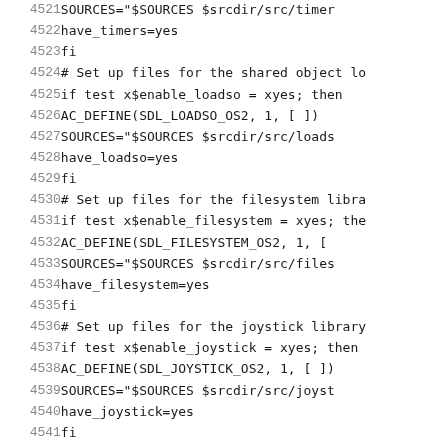Code listing lines 4521-4541 showing shell script configuration for SDL shared object, filesystem, and joystick libraries